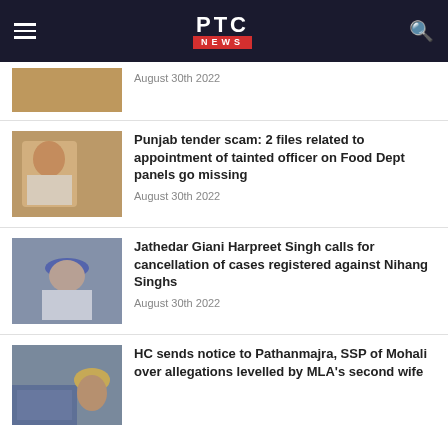PTC NEWS
August 30th 2022
[Figure (photo): News thumbnail - man at desk with beard in white kurta]
Punjab tender scam: 2 files related to appointment of tainted officer on Food Dept panels go missing
August 30th 2022
[Figure (photo): News thumbnail - man with blue turban speaking at microphone]
Jathedar Giani Harpreet Singh calls for cancellation of cases registered against Nihang Singhs
August 30th 2022
[Figure (photo): News thumbnail - Punjab and Haryana High Court building with man in yellow turban]
HC sends notice to Pathanmajra, SSP of Mohali over allegations levelled by MLA's second wife